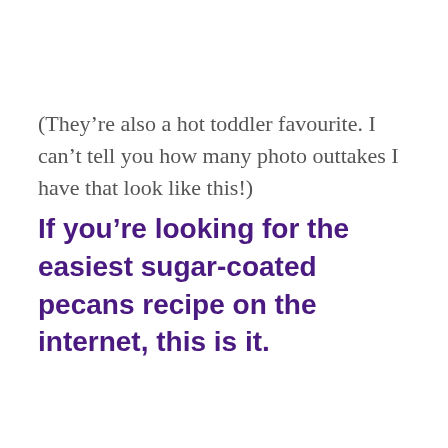(They’re also a hot toddler favourite. I can’t tell you how many photo outtakes I have that look like this!)
If you’re looking for the easiest sugar-coated pecans recipe on the internet, this is it.